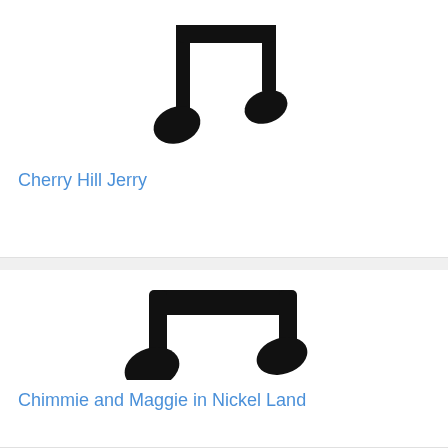[Figure (illustration): Music note icon (partial, top cropped) showing two eighth notes joined together, black on white background]
Cherry Hill Jerry
[Figure (illustration): Music note icon showing two beamed eighth notes, black on white background]
Chimmie and Maggie in Nickel Land